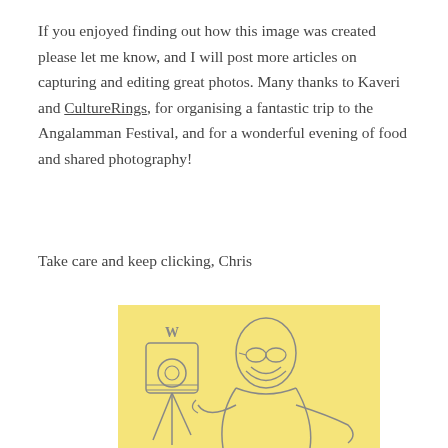If you enjoyed finding out how this image was created please let me know, and I will post more articles on capturing and editing great photos. Many thanks to Kaveri and CultureRings, for organising a fantastic trip to the Angalamman Festival, and for a wonderful evening of food and shared photography!
Take care and keep clicking, Chris
[Figure (illustration): A yellow-background cartoon illustration of a smiling man with glasses and beard holding a camera on a tripod, with a 'W' logo visible on the camera.]